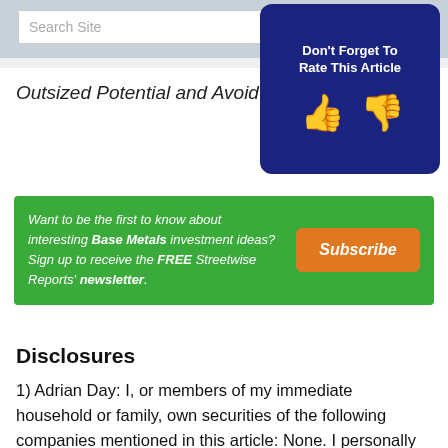Outsized Potential and Avoid the R…
[Figure (infographic): Don't Forget To Rate This Article widget with thumbs up and thumbs down icons on dark blue background]
[Figure (infographic): Green subscription banner: Want to be the first to know about interesting Base Metals investment ideas? Sign up to receive the FREE Streetwise Reports' newsletter. With orange Subscribe button.]
Disclosures
1) Adrian Day: I, or members of my immediate household or family, own securities of the following companies mentioned in this article: None. I personally am, or members of my immediate household or family are, paid by the following companies mentioned in this